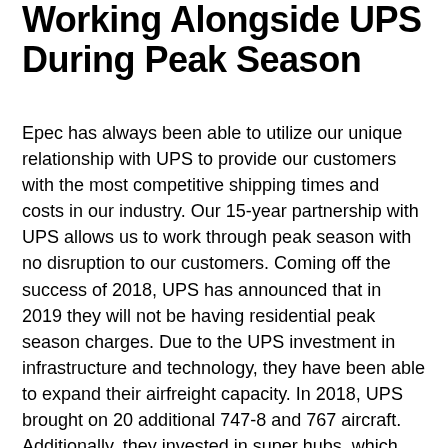Working Alongside UPS During Peak Season
Epec has always been able to utilize our unique relationship with UPS to provide our customers with the most competitive shipping times and costs in our industry. Our 15-year partnership with UPS allows us to work through peak season with no disruption to our customers. Coming off the success of 2018, UPS has announced that in 2019 they will not be having residential peak season charges. Due to the UPS investment in infrastructure and technology, they have been able to expand their airfreight capacity. In 2018, UPS brought on 20 additional 747-8 and 767 aircraft. Additionally, they invested in super hubs, which can move almost 100,000 packages per hour. This increase in technology and capacity will allow UPS to process the projected increases in peak season packages in 2019. A new challenge that will face all the 3PL services in 2019 is that the calendar will be working against them. The typical retail peak season is considered to be from Black Friday to Christmas Eve. This year, that is only 27 days, which means all the carriers are going to be trying to move more packages than last year in